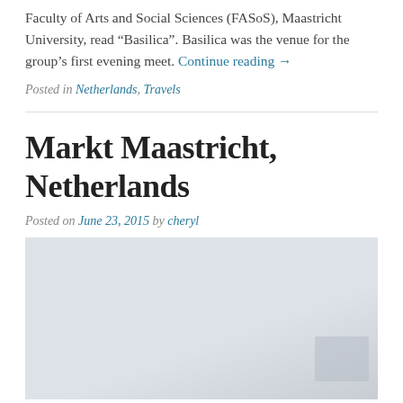Faculty of Arts and Social Sciences (FASoS), Maastricht University, read “Basilica”. Basilica was the venue for the group’s first evening meet. Continue reading →
Posted in Netherlands, Travels
Markt Maastricht, Netherlands
Posted on June 23, 2015 by cheryl
[Figure (photo): A photograph showing Markt Maastricht, Netherlands - appears mostly washed out / overexposed with light blue-grey tones]